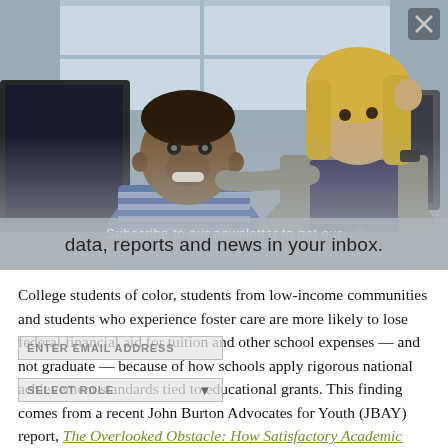[Figure (photo): A smiling teenage boy of color sits in front of a computer monitor, while a blonde woman teacher stands behind him with her hand on his shoulder in an office/classroom setting.]
Subscribe to our newsletter to get our data, reports and news in your inbox.
College students of color, students from low-income communities and students who experience foster care are more likely to lose federal financial aid for tuition and other school expenses — and not graduate — because of how schools apply rigorous national achievement standards tied to educational grants. This finding comes from a recent John Burton Advocates for Youth (JBAY) report, The Overlooked Obstacle: How Satisfactory Academic Progress Impedes Student Suc-